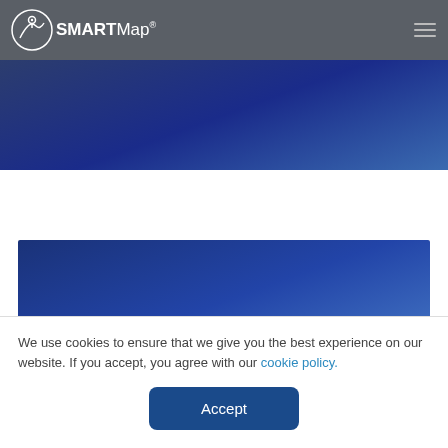[Figure (logo): SMARTMap logo with white map/location icon and text 'SMARTMap' on dark grey navbar]
[Figure (illustration): Dark blue gradient hero banner section]
[Figure (illustration): Blue gradient content section below white space]
We use cookies to ensure that we give you the best experience on our website. If you accept, you agree with our cookie policy.
Accept